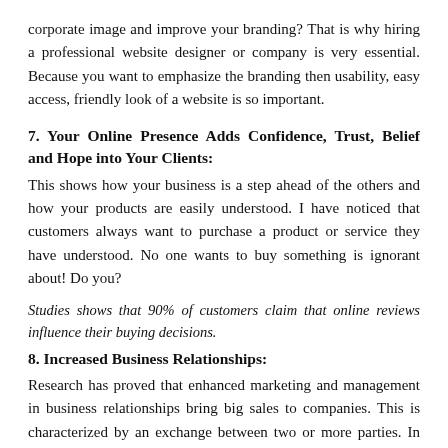corporate image and improve your branding? That is why hiring a professional website designer or company is very essential. Because you want to emphasize the branding then usability, easy access, friendly look of a website is so important.
7. Your Online Presence Adds Confidence, Trust, Belief and Hope into Your Clients:
This shows how your business is a step ahead of the others and how your products are easily understood. I have noticed that customers always want to purchase a product or service they have understood. No one wants to buy something is ignorant about! Do you?
Studies shows that 90% of customers claim that online reviews influence their buying decisions.
8. Increased Business Relationships:
Research has proved that enhanced marketing and management in business relationships bring big sales to companies. This is characterized by an exchange between two or more parties. In simple